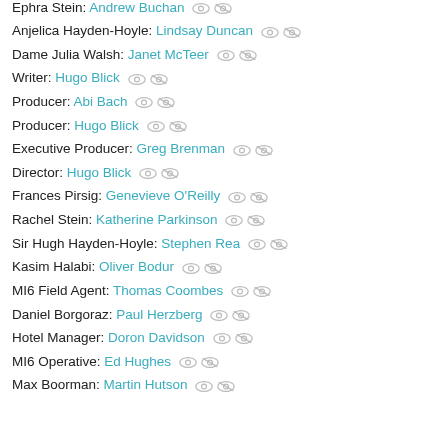Monica Chatwin: Eve Best
Ephra Stein: Andrew Buchan
Anjelica Hayden-Hoyle: Lindsay Duncan
Dame Julia Walsh: Janet McTeer
Writer: Hugo Blick
Producer: Abi Bach
Producer: Hugo Blick
Executive Producer: Greg Brenman
Director: Hugo Blick
Frances Pirsig: Genevieve O'Reilly
Rachel Stein: Katherine Parkinson
Sir Hugh Hayden-Hoyle: Stephen Rea
Kasim Halabi: Oliver Bodur
MI6 Field Agent: Thomas Coombes
Daniel Borgoraz: Paul Herzberg
Hotel Manager: Doron Davidson
MI6 Operative: Ed Hughes
Max Boorman: Martin Hutson